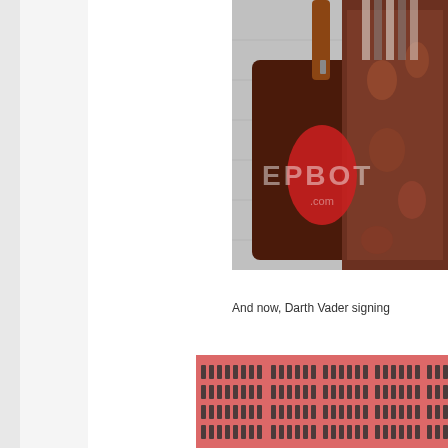[Figure (photo): A brown decorative bag with ornate printed fabric panel showing heraldic/floral patterns, with red lining visible and a leather strap. EPBOT.com watermark visible. Background is grey/white wall tiles.]
And now, Darth Vader signing
[Figure (photo): Close-up of what appears to be a Darth Vader chest panel/costume piece with rows of dark rectangular buttons/controls visible against a pink/red background.]